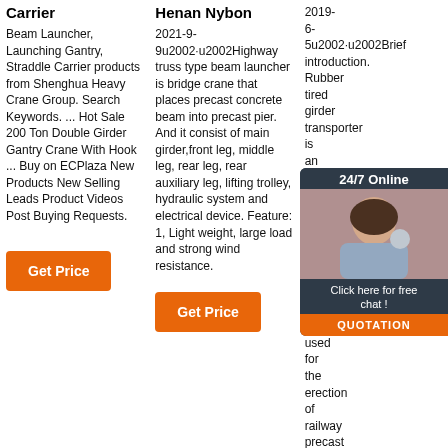Carrier
Beam Launcher, Launching Gantry, Straddle Carrier products from Shenghua Heavy Crane Group. Search Keywords. ... Hot Sale 200 Ton Double Girder Gantry Crane With Hook ... Buy on ECPlaza New Products New Selling Leads Product Videos Post Buying Requests.
Get Price
Henan Nybon
2021-9-9u2002·u2002Highway truss type beam launcher is bridge crane that places precast concrete beam into precast pier. And it consist of main girder,front leg, middle leg, rear leg, rear auxiliary leg, lifting trolley, hydraulic system and electrical device. Feature: 1, Light weight, large load and strong wind resistance.
Get Price
2019-6-5u2002·u2002Brief introduction. Rubber tired girder transporter is an optimal transportation vehicle for placing bridge girders. It is mainly used for the erection of railway precast girder, loading and transport the pre-fabricated bridge girder, and even the directional erection. With the crane, transporting them from precast yard to the bridge erection site.
Get Price
[Figure (photo): Chat agent overlay with 24/7 Online label, photo of woman with headset, Click here for free chat text and QUOTATION button]